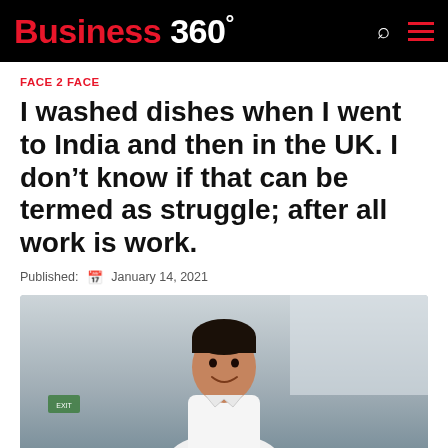Business 360°
FACE 2 FACE
I washed dishes when I went to India and then in the UK. I don't know if that can be termed as struggle; after all work is work.
Published: January 14, 2021
[Figure (photo): Portrait photo of a smiling man in a white chef's uniform, photographed indoors with a blurred background]